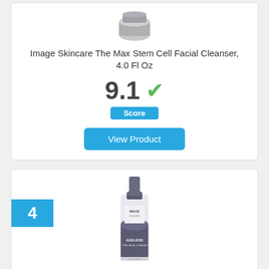[Figure (photo): Image Skincare The Max Stem Cell Facial Cleanser product photo, small grey/silver jar]
Image Skincare The Max Stem Cell Facial Cleanser, 4.0 Fl Oz
9.1
Score
View Product
4
[Figure (photo): Image Skincare Ageless Total Facial Cleanser product photo, tall grey pump bottle with IMAGE AGELESS label]
Image Skincare Ageless Total Facial Cleanser, 6 oz